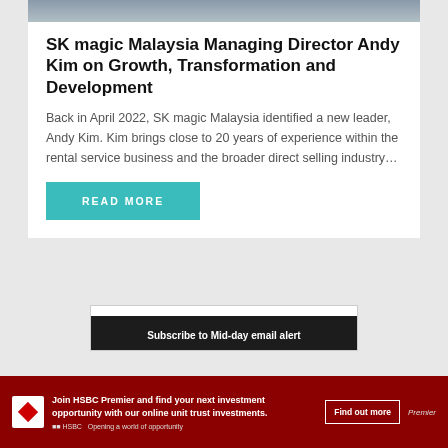[Figure (photo): Partial photo of a person in business attire at the top of the article card]
SK magic Malaysia Managing Director Andy Kim on Growth, Transformation and Development
Back in April 2022, SK magic Malaysia identified a new leader, Andy Kim. Kim brings close to 20 years of experience within the rental service business and the broader direct selling industry…
READ MORE
[Figure (screenshot): Advertisement banner showing 'Subscribe to Mid-day email alert' box and HSBC Premier banner ad at the bottom with text: Join HSBC Premier and find your next investment opportunity with our online unit trust investments. Find out more. HSBC Opening a world of opportunity. Premier.]